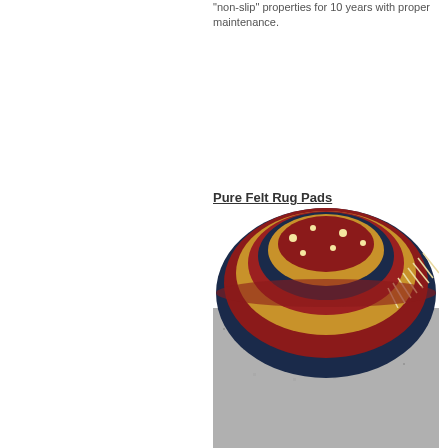"non-slip" properties for 10 years with proper maintenance.
Pure Felt Rug Pads
[Figure (photo): A rolled-up ornate Persian-style rug with red, navy, and gold floral pattern, showing the underside which is a grey felt rug pad, placed on a wooden floor.]